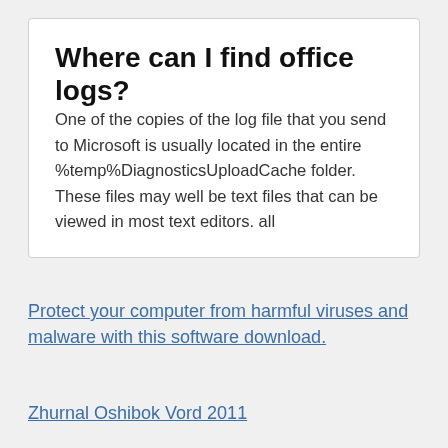Where can I find office logs?
One of the copies of the log file that you send to Microsoft is usually located in the entire %temp%DiagnosticsUploadCache folder. These files may well be text files that can be viewed in most text editors. all
Protect your computer from harmful viruses and malware with this software download.
Zhurnal Oshibok Vord 2011